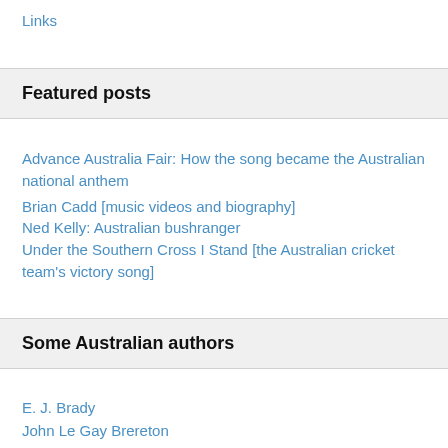Links
Featured posts
Advance Australia Fair: How the song became the Australian national anthem
Brian Cadd [music videos and biography]
Ned Kelly: Australian bushranger
Under the Southern Cross I Stand [the Australian cricket team's victory song]
Some Australian authors
E. J. Brady
John Le Gay Brereton
C. J. Dennis